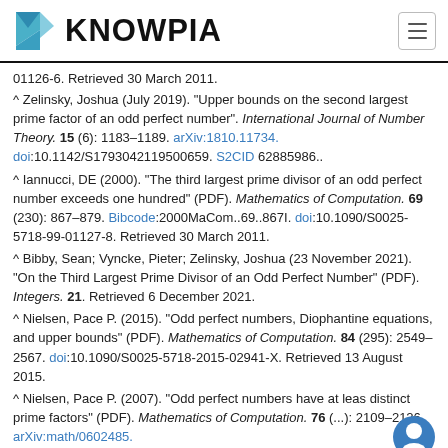KNOWPIA
^ Zelinsky, Joshua (July 2019). "Upper bounds on the second largest prime factor of an odd perfect number". International Journal of Number Theory. 15 (6): 1183–1189. arXiv:1810.11734. doi:10.1142/S1793042119500659. S2CID 62885986..
^ Iannucci, DE (2000). "The third largest prime divisor of an odd perfect number exceeds one hundred" (PDF). Mathematics of Computation. 69 (230): 867–879. Bibcode:2000MaCom..69..867I. doi:10.1090/S0025-5718-99-01127-8. Retrieved 30 March 2011.
^ Bibby, Sean; Vyncke, Pieter; Zelinsky, Joshua (23 November 2021). "On the Third Largest Prime Divisor of an Odd Perfect Number" (PDF). Integers. 21. Retrieved 6 December 2021.
^ Nielsen, Pace P. (2015). "Odd perfect numbers, Diophantine equations, and upper bounds" (PDF). Mathematics of Computation. 84 (295): 2549–2567. doi:10.1090/S0025-5718-2015-02941-X. Retrieved 13 August 2015.
^ Nielsen, Pace P. (2007). "Odd perfect numbers have at least 9 distinct prime factors" (PDF). Mathematics of Computation. 76 (...): 2109–2126. arXiv:math/0602485.
01126-6. Retrieved 30 March 2011.
Bibcode:2007MaCom..76.2109N doi:10.1090/S0025-5718-07...